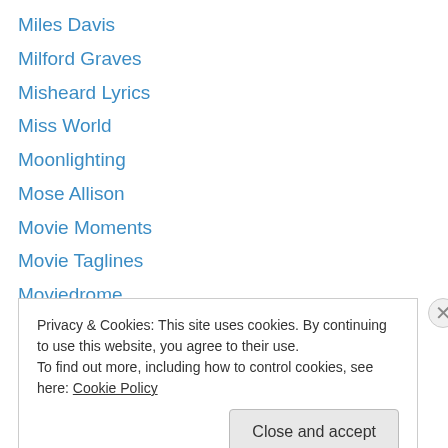Miles Davis
Milford Graves
Misheard Lyrics
Miss World
Moonlighting
Mose Allison
Movie Moments
Movie Taglines
Moviedrome
Movies
Mr Big
MTV
Music Videos
Privacy & Cookies: This site uses cookies. By continuing to use this website, you agree to their use.
To find out more, including how to control cookies, see here: Cookie Policy
Close and accept